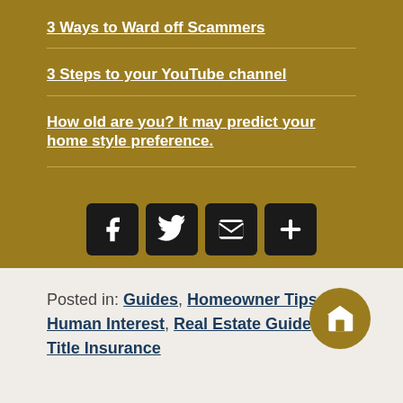3 Ways to Ward off Scammers
3 Steps to your YouTube channel
How old are you? It may predict your home style preference.
[Figure (infographic): Social media sharing icons: Facebook, Twitter, Email, and a Plus/More button, displayed as dark square icons on a gold background.]
Posted in: Guides, Homeowner Tips, Human Interest, Real Estate Guide, Title Insurance